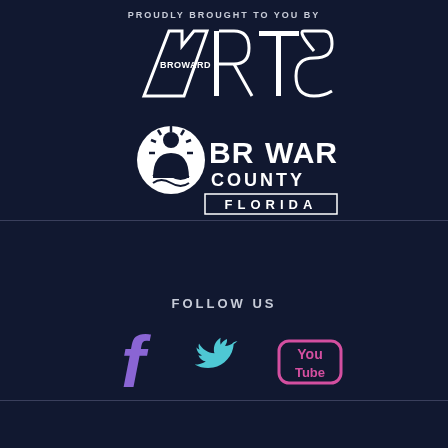PROUDLY BROUGHT TO YOU BY
[Figure (logo): Broward Arts logo — stylized 'ARTS' text with 'BROWARD' inset, white on dark navy]
[Figure (logo): Broward County Florida logo — white text with county seal icon]
FOLLOW US
[Figure (logo): Social media icons: Facebook (purple), Twitter (cyan/teal), YouTube (pink/magenta)]